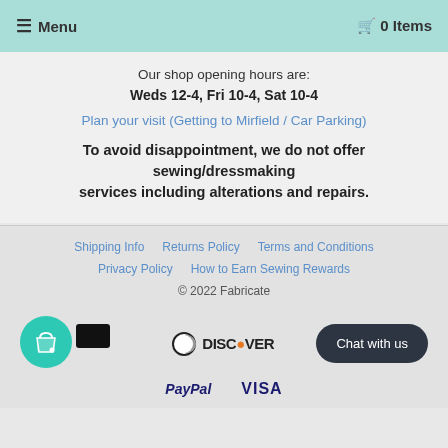≡ Menu   🛒 0 Items
Our shop opening hours are:
Weds 12-4, Fri 10-4, Sat 10-4
Plan your visit (Getting to Mirfield / Car Parking)
To avoid disappointment, we do not offer sewing/dressmaking services including alterations and repairs.
Shipping Info   Returns Policy   Terms and Conditions
Privacy Policy   How to Earn Sewing Rewards
© 2022 Fabricate
[Figure (logo): Payment icons: shop bag icon, dark card, Diners Club / Discover logo, PayPal, VISA, and Chat with us button]